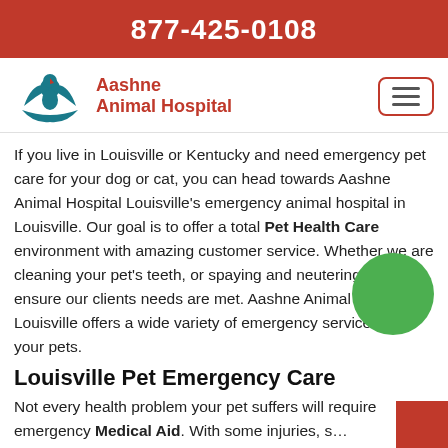877-425-0108
[Figure (logo): Aashne Animal Hospital logo with teal bird/hands graphic and red text]
If you live in Louisville or Kentucky and need emergency pet care for your dog or cat, you can head towards Aashne Animal Hospital Louisville's emergency animal hospital in Louisville. Our goal is to offer a total Pet Health Care environment with amazing customer service. Whether we are cleaning your pet's teeth, or spaying and neutering, we ensure our clients needs are met. Aashne Animal Hospital Louisville offers a wide variety of emergency services for your pets.
Louisville Pet Emergency Care
Not every health problem your pet suffers will require emergency Medical Aid. With some injuries, s...